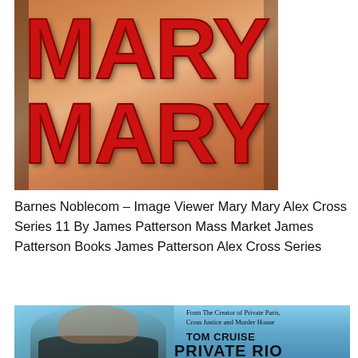[Figure (photo): Book cover of 'Mary Mary' by James Patterson showing large red bold text 'MARY MARY' on a warm tan/brown gradient background]
Barnes Noblecom – Image Viewer Mary Mary Alex Cross Series 11 By James Patterson Mass Market James Patterson Books James Patterson Alex Cross Series
[Figure (photo): Book cover showing a man's face (resembling Tom Cruise) against a blue sky background, with text 'From The Creator of Private Paris, Cross Justice and Murder House', 'TOM CRUISE', and 'PRIVATE RIO' (partially visible)]